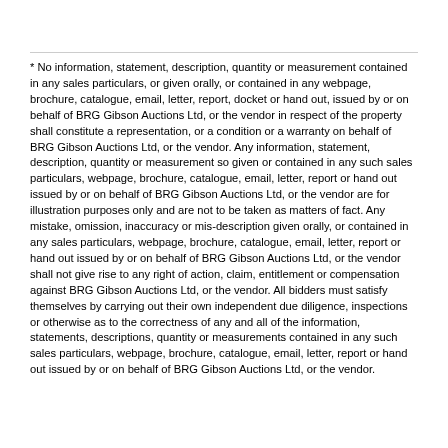* No information, statement, description, quantity or measurement contained in any sales particulars, or given orally, or contained in any webpage, brochure, catalogue, email, letter, report, docket or hand out, issued by or on behalf of BRG Gibson Auctions Ltd, or the vendor in respect of the property shall constitute a representation, or a condition or a warranty on behalf of BRG Gibson Auctions Ltd, or the vendor. Any information, statement, description, quantity or measurement so given or contained in any such sales particulars, webpage, brochure, catalogue, email, letter, report or hand out issued by or on behalf of BRG Gibson Auctions Ltd, or the vendor are for illustration purposes only and are not to be taken as matters of fact. Any mistake, omission, inaccuracy or mis-description given orally, or contained in any sales particulars, webpage, brochure, catalogue, email, letter, report or hand out issued by or on behalf of BRG Gibson Auctions Ltd, or the vendor shall not give rise to any right of action, claim, entitlement or compensation against BRG Gibson Auctions Ltd, or the vendor. All bidders must satisfy themselves by carrying out their own independent due diligence, inspections or otherwise as to the correctness of any and all of the information, statements, descriptions, quantity or measurements contained in any such sales particulars, webpage, brochure, catalogue, email, letter, report or hand out issued by or on behalf of BRG Gibson Auctions Ltd, or the vendor.